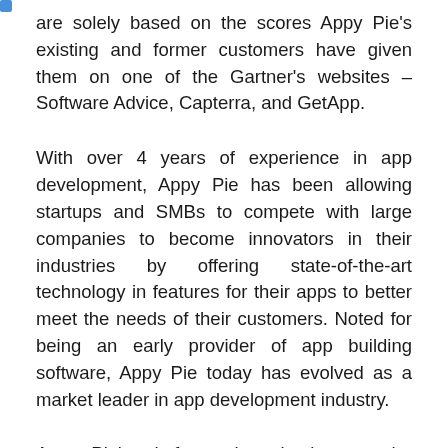are solely based on the scores Appy Pie's existing and former customers have given them on one of the Gartner's websites – Software Advice, Capterra, and GetApp.
With over 4 years of experience in app development, Appy Pie has been allowing startups and SMBs to compete with large companies to become innovators in their industries by offering state-of-the-art technology in features for their apps to better meet the needs of their customers. Noted for being an early provider of app building software, Appy Pie today has evolved as a market leader in app development industry.
Appy Pie's platform gives businesses the tools to